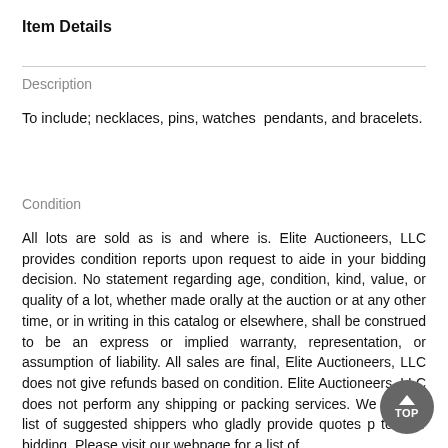Item Details
Description
To include; necklaces, pins, watches  pendants, and bracelets.
Condition
All lots are sold as is and where is. Elite Auctioneers, LLC provides condition reports upon request to aide in your bidding decision. No statement regarding age, condition, kind, value, or quality of a lot, whether made orally at the auction or at any other time, or in writing in this catalog or elsewhere, shall be construed to be an express or implied warranty, representation, or assumption of liability. All sales are final, Elite Auctioneers, LLC does not give refunds based on condition. Elite Auctioneers, LLC does not perform any shipping or packing services. We do hav list of suggested shippers who gladly provide quotes p to your bidding. Please visit our webpage for a list of